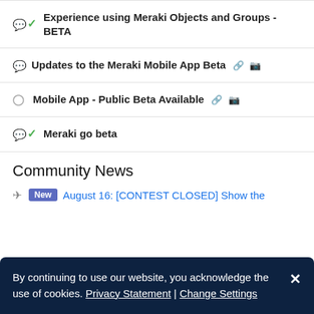Experience using Meraki Objects and Groups - BETA
Updates to the Meraki Mobile App Beta
Mobile App - Public Beta Available
Meraki go beta
Community News
New  August 16: [CONTEST CLOSED] Show the
By continuing to use our website, you acknowledge the use of cookies. Privacy Statement | Change Settings